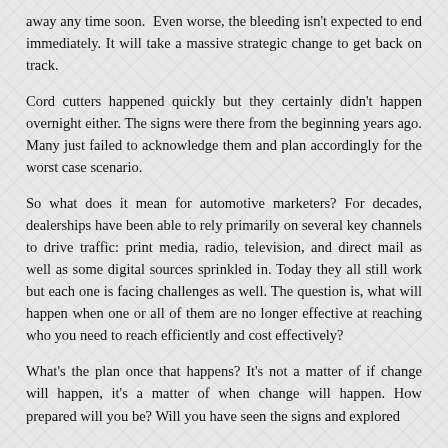away any time soon. Even worse, the bleeding isn't expected to end immediately. It will take a massive strategic change to get back on track.
Cord cutters happened quickly but they certainly didn't happen overnight either. The signs were there from the beginning years ago. Many just failed to acknowledge them and plan accordingly for the worst case scenario.
So what does it mean for automotive marketers? For decades, dealerships have been able to rely primarily on several key channels to drive traffic: print media, radio, television, and direct mail as well as some digital sources sprinkled in. Today they all still work but each one is facing challenges as well. The question is, what will happen when one or all of them are no longer effective at reaching who you need to reach efficiently and cost effectively?
What's the plan once that happens? It's not a matter of if change will happen, it's a matter of when change will happen. How prepared will you be? Will you have seen the signs and explored